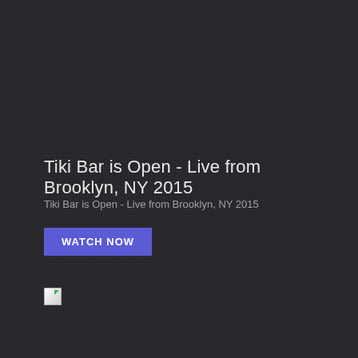Tiki Bar is Open - Live from Brooklyn, NY 2015
Tiki Bar is Open - Live from Brooklyn, NY 2015
WATCH NOW
[Figure (other): Small broken/placeholder image icon in bottom-left area]